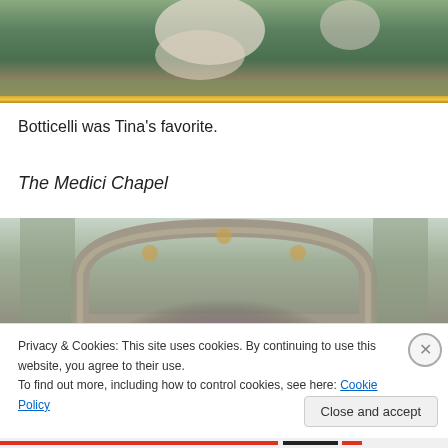[Figure (photo): Top portion of a painting, showing a figure with flowing white/cream drapery against a teal/green background with ornate gold frame at bottom]
Botticelli was Tina's favorite.
The Medici Chapel
[Figure (photo): Interior of the Medici Chapel showing ornate arch with decorative stonework in green, gold, and pink tones, with a purple/violet glowing apse behind]
Privacy & Cookies: This site uses cookies. By continuing to use this website, you agree to their use.
To find out more, including how to control cookies, see here: Cookie Policy
Close and accept